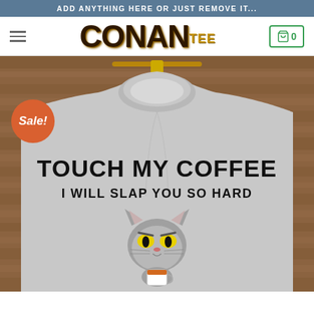ADD ANYTHING HERE OR JUST REMOVE IT...
[Figure (logo): ConanTEE brand logo with hamburger menu icon on left and cart icon on right]
[Figure (photo): Product photo of a light grey t-shirt on a wooden hanger background. The shirt reads 'TOUCH MY COFFEE I WILL SLAP YOU SO HARD' with an illustration of a grumpy cat holding coffee. A Sale! badge in orange is overlaid on the top-left of the image.]